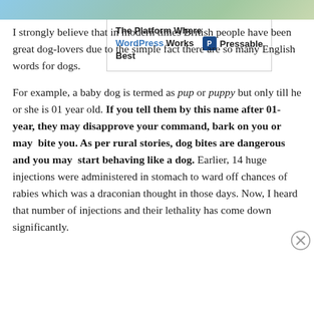[Figure (photo): Partial image strip at top of page showing blue/teal/green tones (cropped photo)]
I strongly believe that in modern times British people have been great dog-lovers due to the simple fact there are so many English words for dogs.
For example, a baby dog is termed as pup or puppy but only till he or she is 01 year old. If you tell them by this name after 01-year, they may disapprove your command, bark on you or may bite you. As per rural stories, dog bites are dangerous and you may start behaving like a dog. Earlier, 14 huge injections were administered in stomach to ward off chances of rabies which was a draconian thought in those days. Now, I heard that number of injections and their lethality has come down significantly.
Advertisements
The Platform Where WordPress Works Best — Pressable